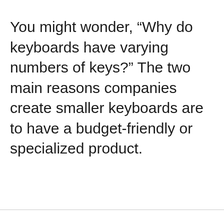You might wonder, “Why do keyboards have varying numbers of keys?” The two main reasons companies create smaller keyboards are to have a budget-friendly or specialized product.